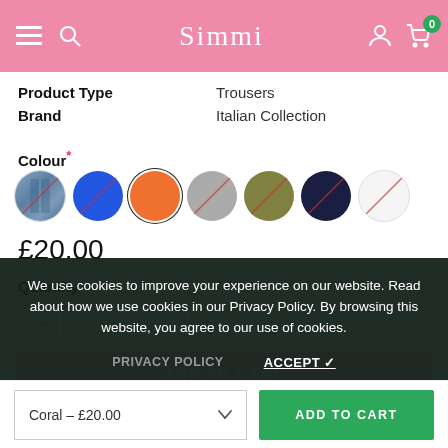Simmi
| Property | Value |
| --- | --- |
| Product Type | Trousers |
| Brand | Italian Collection |
Colour *
[Figure (other): Seven colour swatches: denim/jeans pattern, blue, coral/orange (selected), grey, olive, navy, white/none]
£20.00
Quantity
We use cookies to improve your experience on our website. Read about how we use cookies in our Privacy Policy. By browsing this website, you agree to our use of cookies.
PRIVACY POLICY   ACCEPT ✓
ADD TO CART
Coral – £20.00  ADD TO CART